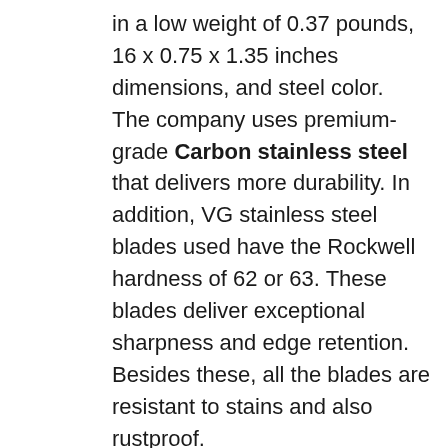in a low weight of 0.37 pounds, 16 x 0.75 x 1.35 inches dimensions, and steel color.  The company uses premium-grade Carbon stainless steel that delivers more durability. In addition, VG stainless steel blades used have the Rockwell hardness of 62 or 63. These blades deliver exceptional sharpness and edge retention. Besides these, all the blades are resistant to stains and also rustproof.
Particularly, it is a professional Japanese Chef knife; therefore,